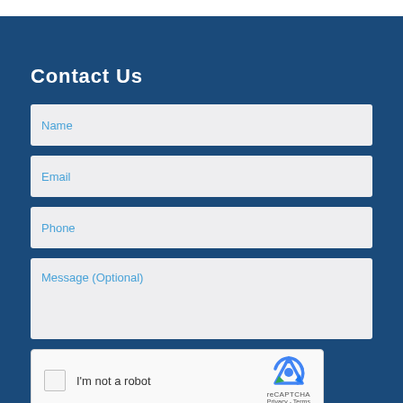Contact Us
Name
Email
Phone
Message (Optional)
[Figure (other): reCAPTCHA widget with checkbox labeled I'm not a robot, reCAPTCHA logo, Privacy and Terms links]